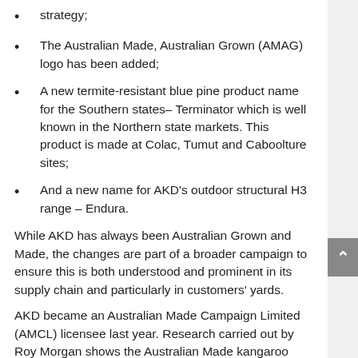strategy;
The Australian Made, Australian Grown (AMAG) logo has been added;
A new termite-resistant blue pine product name for the Southern states– Terminator which is well known in the Northern state markets. This product is made at Colac, Tumut and Caboolture sites;
And a new name for AKD's outdoor structural H3 range – Endura.
While AKD has always been Australian Grown and Made, the changes are part of a broader campaign to ensure this is both understood and prominent in its supply chain and particularly in customers' yards.
AKD became an Australian Made Campaign Limited (AMCL) licensee last year. Research carried out by Roy Morgan shows the Australian Made kangaroo logo is